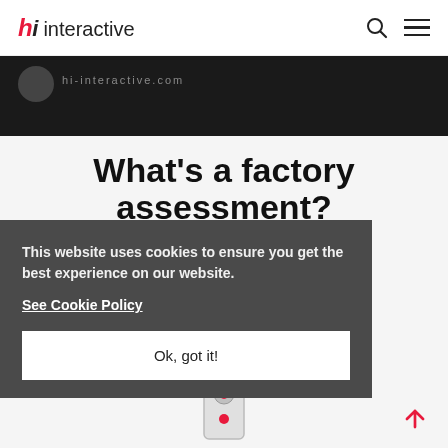hi interactive
[Figure (screenshot): Dark banner area with circular avatar and blurred text]
What's a factory assessment?
The assessment on your factory will help you understanding:
This website uses cookies to ensure you get the best experience on our website.
See Cookie Policy
Ok, got it!
[Figure (photo): Partial view of a device/remote control at bottom]